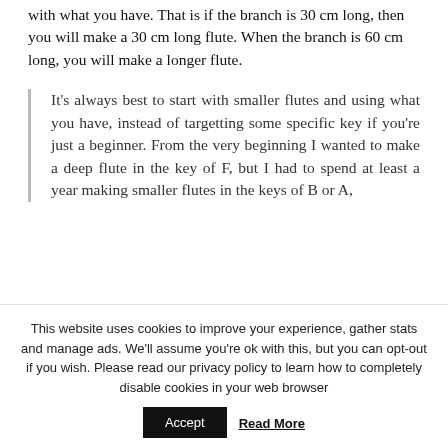with what you have. That is if the branch is 30 cm long, then you will make a 30 cm long flute. When the branch is 60 cm long, you will make a longer flute.
It's always best to start with smaller flutes and using what you have, instead of targetting some specific key if you're just a beginner. From the very beginning I wanted to make a deep flute in the key of F, but I had to spend at least a year making smaller flutes in the keys of B or A,
This website uses cookies to improve your experience, gather stats and manage ads. We'll assume you're ok with this, but you can opt-out if you wish. Please read our privacy policy to learn how to completely disable cookies in your web browser
Accept
Read More